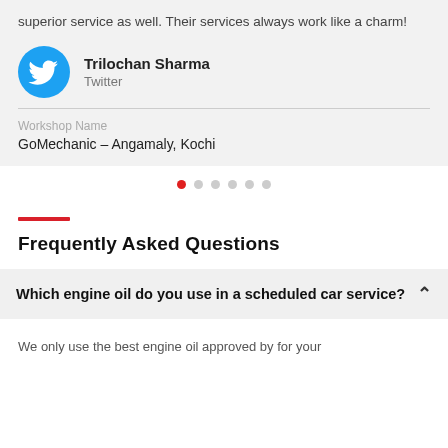superior service as well. Their services always work like a charm!
Trilochan Sharma
Twitter
Workshop Name
GoMechanic – Angamaly, Kochi
Frequently Asked Questions
Which engine oil do you use in a scheduled car service?
We only use the best engine oil approved by for your